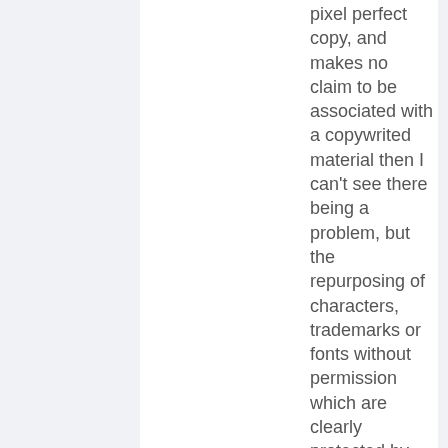pixel perfect copy, and makes no claim to be associated with a copywrited material then I can't see there being a problem, but the repurposing of characters, trademarks or fonts without permission which are clearly protected by intelectual property laws could be a